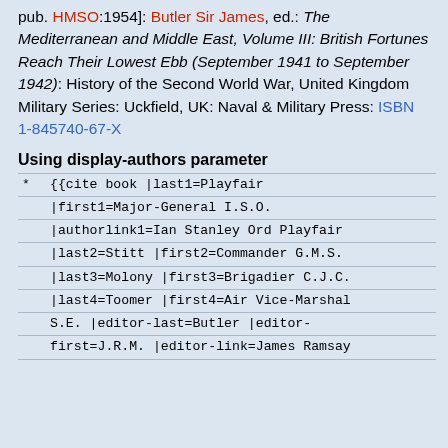pub. HMSO:1954]: Butler Sir James, ed.: The Mediterranean and Middle East, Volume III: British Fortunes Reach Their Lowest Ebb (September 1941 to September 1942): History of the Second World War, United Kingdom Military Series: Uckfield, UK: Naval & Military Press: ISBN 1-845740-67-X
Using display-authors parameter
* {{cite book |last1=Playfair |first1=Major-General I.S.O. |authorlink1=Ian Stanley Ord Playfair |last2=Stitt |first2=Commander G.M.S. |last3=Molony |first3=Brigadier C.J.C. |last4=Toomer |first4=Air Vice-Marshal S.E. |editor-last=Butler |editor-first=J.R.M. |editor-link=James Ramsay